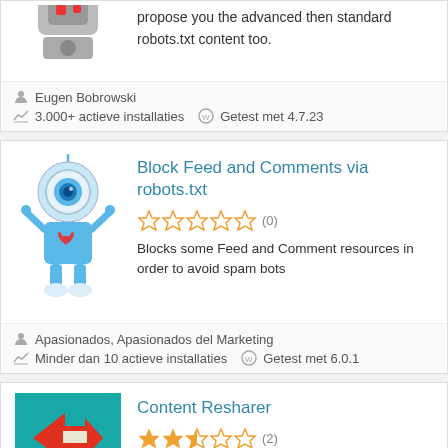propose you the advanced then standard robots.txt content too.
Eugen Bobrowski
3.000+ actieve installaties   Getest met 4.7.23
Block Feed and Comments via robots.txt
[Figure (illustration): Blue cartoon robot with one eye, raised arms, on white background]
(0) - 0 out of 5 stars
Blocks some Feed and Comment resources in order to avoid spam bots
Apasionados, Apasionados del Marketing
Minder dan 10 actieve installaties   Getest met 6.0.1
Content Resharer
[Figure (illustration): Content resharer plugin icon - teal background with red arrows]
(2) - 2.5 out of 5 stars